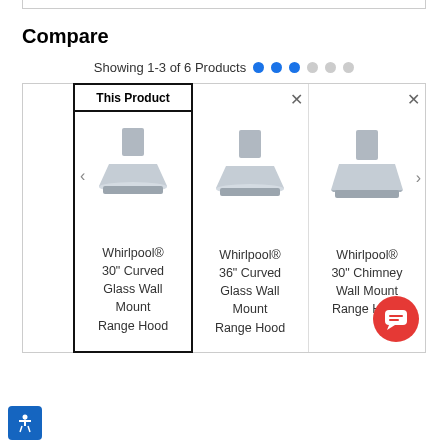Compare
Showing 1-3 of 6 Products
[Figure (screenshot): Product comparison grid showing three Whirlpool range hood products side by side. The first column is highlighted as 'This Product'. Products shown: Whirlpool® 30" Curved Glass Wall Mount Range Hood, Whirlpool® 36" Curved Glass Wall Mount Range Hood, Whirlpool® 30" Chimney Wall Mount Range Hood.]
Whirlpool® 30" Curved Glass Wall Mount Range Hood
Whirlpool® 36" Curved Glass Wall Mount Range Hood
Whirlpool® 30" Chimney Wall Mount Range Hood